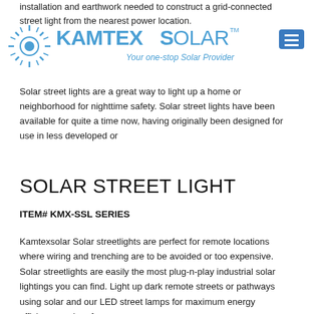installation and earthwork needed to construct a grid-connected street light from the nearest power location.
[Figure (logo): KamtexSolar logo with sunburst icon and tagline 'Your one-stop Solar Provider']
SOLAR STREET LIGHT
ITEM# KMX-SSL SERIES
Kamtexsolar Solar streetlights are perfect for remote locations where wiring and trenching are to be avoided or too expensive. Solar streetlights are easily the most plug-n-play industrial solar lightings you can find. Light up dark remote streets or pathways using solar and our LED street lamps for maximum energy efficiency and performance.